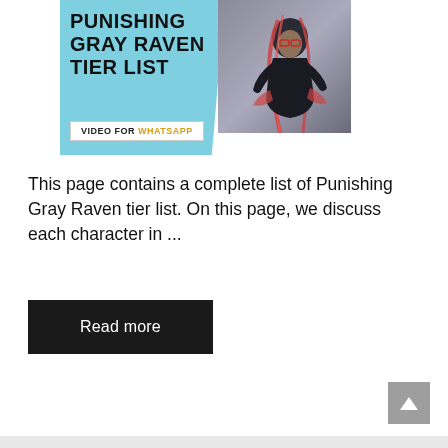[Figure (illustration): Composite image with light blue tile showing 'PUNISHING GRAY RAVEN TIER LIST' in bold black uppercase text with a 'VIDEO FOR WHATSAPP' banner, alongside an anime character illustration on a grey background]
This page contains a complete list of Punishing Gray Raven tier list. On this page, we discuss each character in ...
Read more